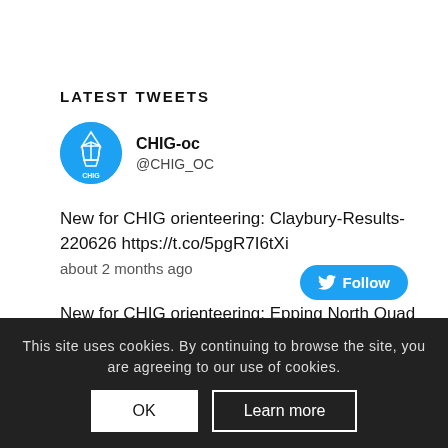LATEST TWEETS
CHIG-oc @CHIG_OC
New for CHIG orienteering: Claybury-Results-220626 https://t.co/5pgR7I6tXi
about 2 months ago
New for CHIG orienteering: Epping North Quad Match 18 May 2022 https://t.co/ub8pKD8G7W
about 3 months ago
This site uses cookies. By continuing to browse the site, you are agreeing to our use of cookies.